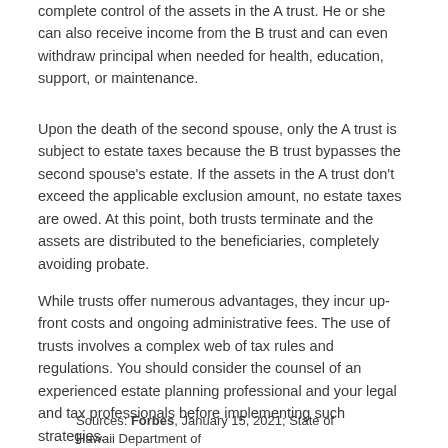complete control of the assets in the A trust. He or she can also receive income from the B trust and can even withdraw principal when needed for health, education, support, or maintenance.
Upon the death of the second spouse, only the A trust is subject to estate taxes because the B trust bypasses the second spouse's estate. If the assets in the A trust don’t exceed the applicable exclusion amount, no estate taxes are owed. At this point, both trusts terminate and the assets are distributed to the beneficiaries, completely avoiding probate.
While trusts offer numerous advantages, they incur up-front costs and ongoing administrative fees. The use of trusts involves a complex web of tax rules and regulations. You should consider the counsel of an experienced estate planning professional and your legal and tax professionals before implementing such strategies.
Sources: Forbes, January 15, 2021; State of Hawaii Department of